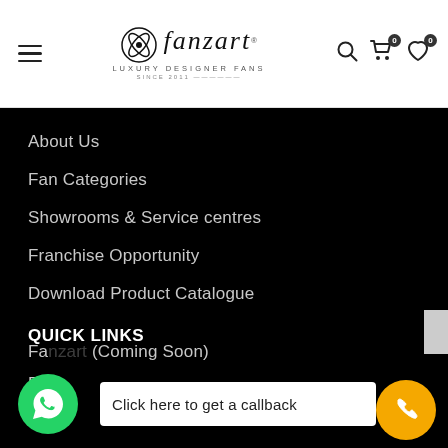fanzart LUXURY DESIGNER FANS SINCE 2013
About Us
Fan Categories
Showrooms & Service centres
Franchise Opportunity
Download Product Catalogue
QUICK LINKS
Fanzart (Coming Soon)
FA...
Click here to get a callback